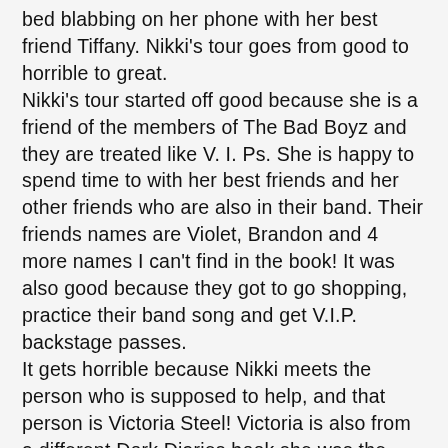bed blabbing on her phone with her best friend Tiffany. Nikki's tour goes from good to horrible to great.
Nikki's tour started off good because she is a friend of the members of The Bad Boyz and they are treated like V. I. Ps. She is happy to spend time to with her best friends and her other friends who are also in their band. Their friends names are Violet, Brandon and 4 more names I can't find in the book! It was also good because they got to go shopping, practice their band song and get V.I.P. backstage passes.
It gets horrible because Nikki meets the person who is supposed to help, and that person is Victoria Steel! Victoria is also from a different Dork Diaries book she was the boss of the holiday on ice show! Victoria Steel is mean and bossy. It gets worst when Victoria announces that she met a special someone who would help the band, "Dorks Rule!" and that